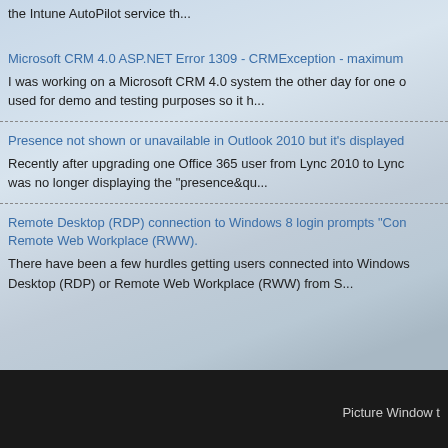the Intune AutoPilot service th...
Microsoft CRM 4.0 ASP.NET Error 1309 - CRMException - maximum
I was working on a Microsoft CRM 4.0 system the other day for one o used for demo and testing purposes so it h...
Presence not shown or unavailable in Outlook 2010 but it's displayed
Recently after upgrading one Office 365 user from Lync 2010 to Lync was no longer displaying the "presence&qu...
Remote Desktop (RDP) connection to Windows 8 login prompts "Con Remote Web Workplace (RWW).
There have been a few hurdles getting users connected into Windows Desktop (RDP) or Remote Web Workplace (RWW) from S...
Picture Window t